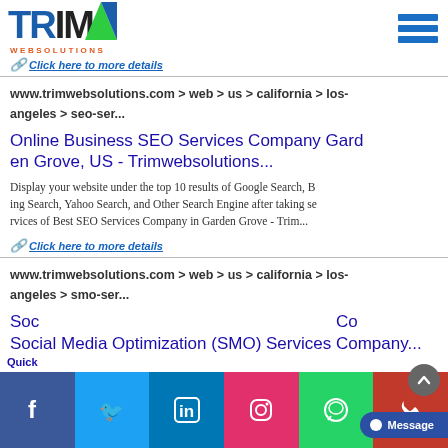[Figure (logo): TRIM WEBSOLUTIONS logo with blue and green triangular M design]
Click here to more details
www.trimwebsolutions.com > web > us > california > los-angeles > seo-ser...
Online Business SEO Services Company Garden Grove, US - Trimwebsolutions...
Display your website under the top 10 results of Google Search, Bing Search, Yahoo Search, and Other Search Engine after taking services of Best SEO Services Company in Garden Grove - Trim...
Click here to more details
www.trimwebsolutions.com > web > us > california > los-angeles > smo-ser...
Social Media Optimization (SMO) Services Company...
Quick Inquiry
[Figure (infographic): Social media icons bar: Facebook, Twitter, LinkedIn, Instagram, WhatsApp, Phone. Message button and scroll-up arrow.]